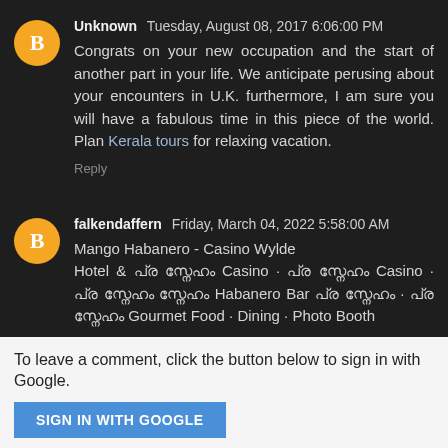Unknown  Tuesday, August 08, 2017 6:06:00 PM
Congrats on your new occupation and the start of another part in your life. We anticipate perusing about your encounters in U.K. furthermore, I am sure you will have a fabulous time in this piece of the world. Plan Kerala tours for relaxing vacation.
Reply
falkendaffern  Friday, March 04, 2022 5:58:00 AM
Mango Habanero - Casino Wylde
Hotel & [text] Casino · [text] Casino · [text] Habanero Bar [text] · [text] Gourmet Food · Dining · Photo Booth
Reply
To leave a comment, click the button below to sign in with Google.
SIGN IN WITH GOOGLE